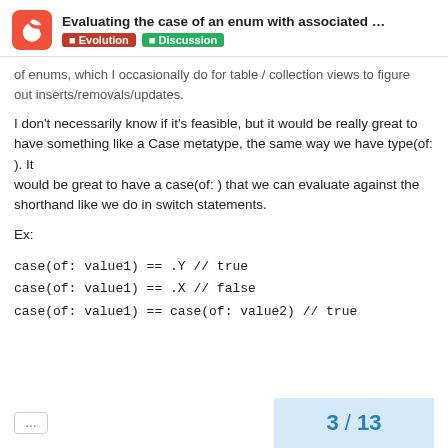Evaluating the case of an enum with associated … | Evolution | Discussion
of enums, which I occasionally do for table / collection views to figure
out inserts/removals/updates.
I don't necessarily know if it's feasible, but it would be really great to
have something like a Case metatype, the same way we have type(of: ). It
would be great to have a case(of: ) that we can evaluate against the
shorthand like we do in switch statements.
Ex:
case(of: value1) == .Y // true
case(of: value1) == .X // false
case(of: value1) == case(of: value2) // true
... | 3 / 13